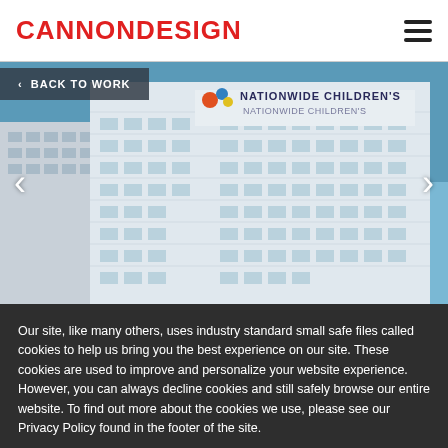CANNONDESIGN
[Figure (photo): Exterior photograph of Nationwide Children's hospital building against a blue sky, with the Nationwide Children's logo and text visible on the building facade.]
< BACK TO WORK
Our site, like many others, uses industry standard small safe files called cookies to help us bring you the best experience on our site. These cookies are used to improve and personalize your website experience. However, you can always decline cookies and still safely browse our entire website. To find out more about the cookies we use, please see our Privacy Policy found in the footer of the site.
Accept
Decline